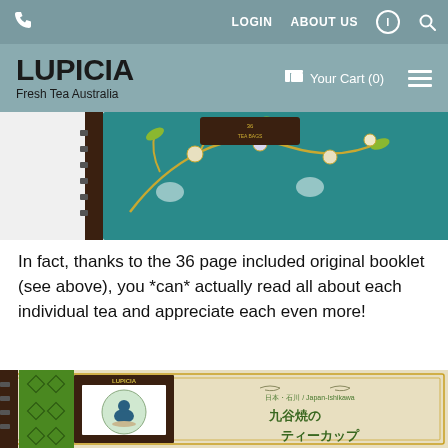LUPICIA Fresh Tea Australia — Navigation: LOGIN, ABOUT US, info, search, Your Cart (0)
[Figure (photo): Partial view of a LUPICIA tea booklet with teal/green cover featuring illustrated tea tree with gold branches and teacups as ornaments on a dark brown spine, angled view from top-left]
In fact, thanks to the 36 page included original booklet (see above), you *can* actually read all about each individual tea and appreciate each even more!
[Figure (photo): Partial view of a LUPICIA product booklet page showing green decorative border, LUPICIA label with a Kutani ware teacup illustration, and Japanese text reading 日本・石川 / Japan-Ishikawa 九谷焼のティーカップ]